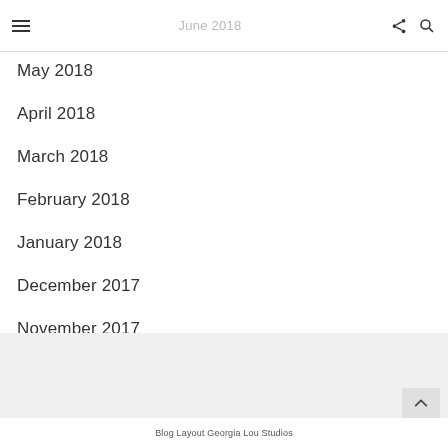June 2018
May 2018
April 2018
March 2018
February 2018
January 2018
December 2017
November 2017
Blog Layout Georgia Lou Studios